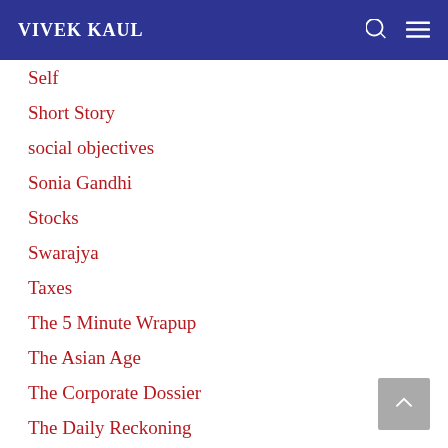VIVEK KAUL
Self
Short Story
social objectives
Sonia Gandhi
Stocks
Swarajya
Taxes
The 5 Minute Wrapup
The Asian Age
The Corporate Dossier
The Daily Reckoning
The Quint